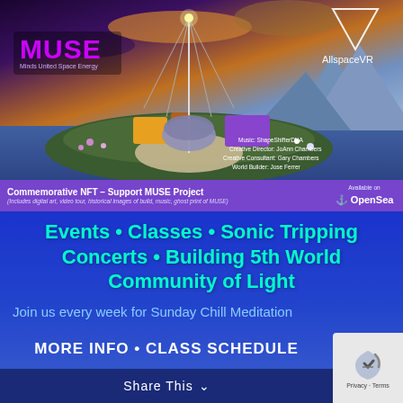[Figure (illustration): VR scene of a futuristic MUSE building on an island with mountains and colorful sky. MUSE logo in purple top-left, AllspaceVR triangle logo top-right. Credits bottom-right listing Music: ShapeShifterDNA, Creative Director: JoAnn Chambers, Creative Consultant: Gary Chambers, World Builder: Jose Ferrer.]
Commemorative NFT – Support MUSE Project
(Includes digital art, video tour, historical images of build, music, ghost print of MUSE)
Available on OpenSea
Events • Classes • Sonic Tripping Concerts • Building 5th World Community of Light
Join us every week for Sunday Chill Meditation
MORE INFO • CLASS SCHEDULE
Share This